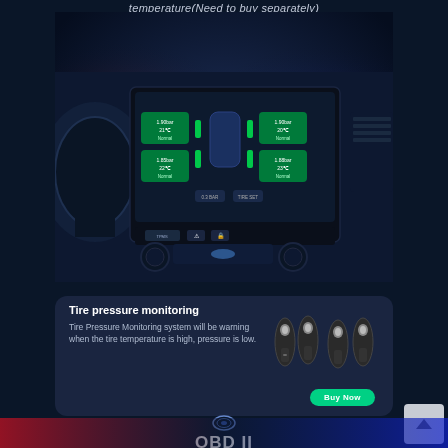temperature(Need to buy separately)
[Figure (photo): Car dashboard interior showing a large touchscreen head unit displaying TPMS (Tire Pressure Monitoring System) interface with four tire pressure readings and a car outline graphic]
Tire pressure monitoring
Tire Pressure Monitoring system will be warning when the tire temperature is high, pressure is low.
[Figure (photo): Four TPMS tire pressure sensor units shown against dark background]
Buy Now
OBD II